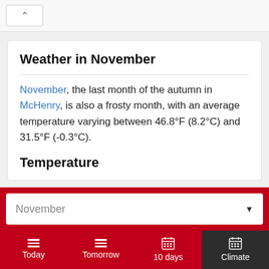^
Weather in November
November, the last month of the autumn in McHenry, is also a frosty month, with an average temperature varying between 46.8°F (8.2°C) and 31.5°F (-0.3°C).
Temperature
November (dropdown selector)
Today | Tomorrow | 10 days | Climate (navigation tabs)